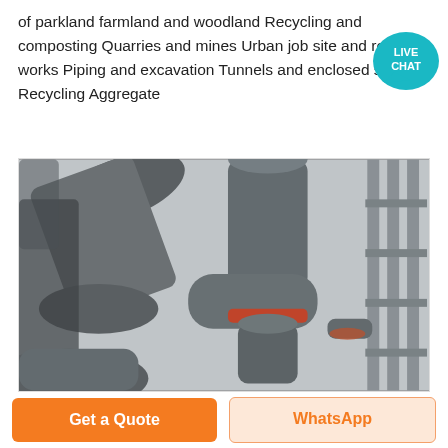of parkland farmland and woodland Recycling and composting Quarries and mines Urban job site and road works Piping and excavation Tunnels and enclosed spaces Recycling Aggregate
[Figure (photo): Industrial dust collection or pneumatic conveying system with large grey pipes and ductwork, industrial facility with metal scaffolding in background]
Get a Quote
WhatsApp